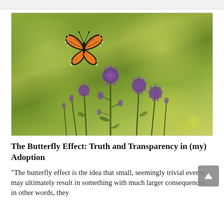[Figure (photo): A monarch butterfly with orange and black wings in flight above purple thistle flowers, set against a blurred green bokeh background outdoors.]
The Butterfly Effect: Truth and Transparency in (my) Adoption
"The butterfly effect is the idea that small, seemingly trivial events may ultimately result in something with much larger consequences... in other words, they